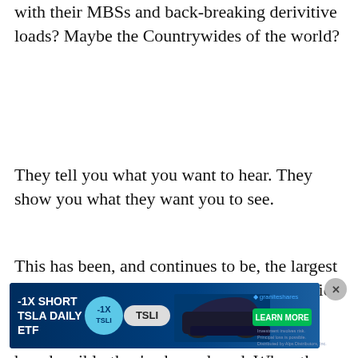with their MBSs and back-breaking derivitive loads? Maybe the Countrywides of the world?
They tell you what you want to hear. They show you what they want you to see.
This has been, and continues to be, the largest criminal perpetration on the American public (worldwide) of all time. Other counties are now catching on and trying to quantify just how horribly they've been duped. When they find out shit is going to hit the fan...US is the fan
people. As if we've not pissed off enough p... ...ad t... Holy s#@%!! This nation h... them too? Holy s#@%!! This nation h... of
[Figure (infographic): Advertisement banner for -1X SHORT TSLA DAILY ETF by GraniteShares. Dark blue background with car image, badge showing -1X, TSLI ticker, Learn More button.]